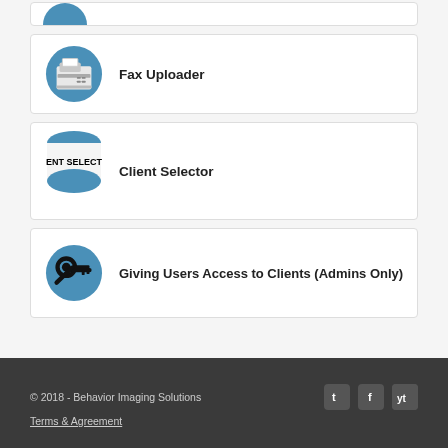[Figure (illustration): Partial card visible at top — clipped blue circle icon with fax machine graphic]
Fax Uploader
Client Selector
Giving Users Access to Clients (Admins Only)
© 2018 - Behavior Imaging Solutions
Terms & Agreement